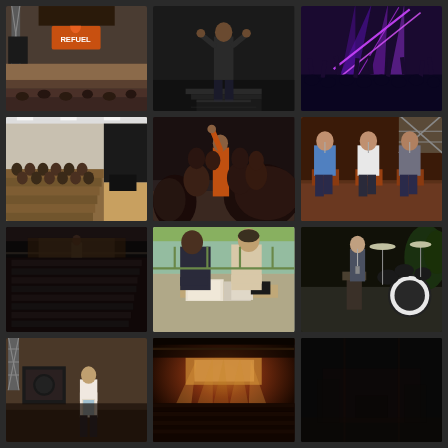[Figure (photo): Conference venue with stage showing orange REFUEL sign, empty seats in a large auditorium]
[Figure (photo): Man in dark clothes standing on stage presenting, dark background]
[Figure (photo): Concert venue with purple stage lighting and crowd silhouettes with hands raised]
[Figure (photo): Audience seated in rows in a conference room or auditorium, side view]
[Figure (photo): Group discussion or Q&A session with person in orange shirt raising hand among seated attendees]
[Figure (photo): Three men seated on stage in chairs for a panel discussion with stage rigging behind]
[Figure (photo): Dark auditorium with audience seated, viewed from the side or back]
[Figure (photo): Two people leaning over a table looking at documents or materials]
[Figure (photo): Man speaking at a podium on stage with drum kit visible behind him]
[Figure (photo): Person presenting on stage in a large venue with stage truss visible]
[Figure (photo): Large concert or event venue with warm stage lighting and large crowd]
[Figure (photo): Dark stage or venue scene, dimly lit]